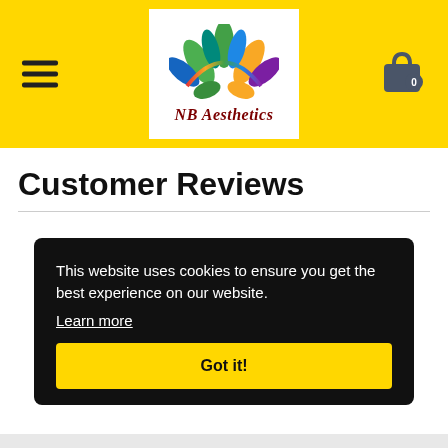[Figure (logo): NB Aesthetics logo with colorful lotus flower and stylized text 'NB Aesthetics']
Customer Reviews
This website uses cookies to ensure you get the best experience on our website. Learn more
Got it!